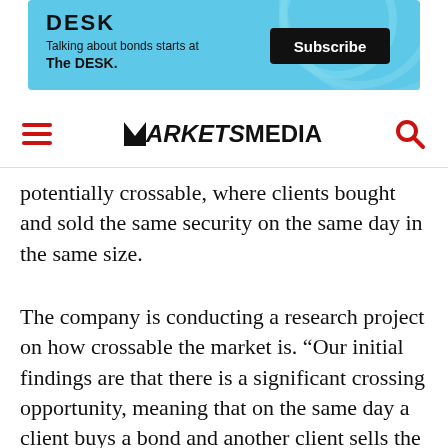[Figure (other): Advertisement banner for The DESK – 'Talking about bonds starts at The DESK.' with a Subscribe button, light blue background with circular graphic elements]
MARKETS MEDIA (navigation bar with hamburger menu and search icon)
potentially crossable, where clients bought and sold the same security on the same day in the same size.
The company is conducting a research project on how crossable the market is. “Our initial findings are that there is a significant crossing opportunity, meaning that on the same day a client buys a bond and another client sells the same bond,” said Olson. “We consider this a part of a larger data-driven